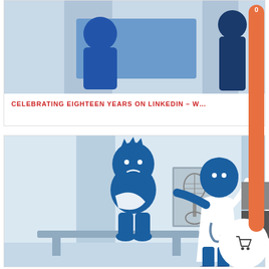[Figure (illustration): Top card showing partial illustration of blue cartoon figures in a medical/professional setting with light blue background]
CELEBRATING EIGHTEEN YEARS ON LINKEDIN – W...
[Figure (illustration): Bottom card showing blue cartoon illustration of a patient with arm sling sitting on a bench, and a doctor in white coat holding up an X-ray image, in a medical office setting with light blue walls]